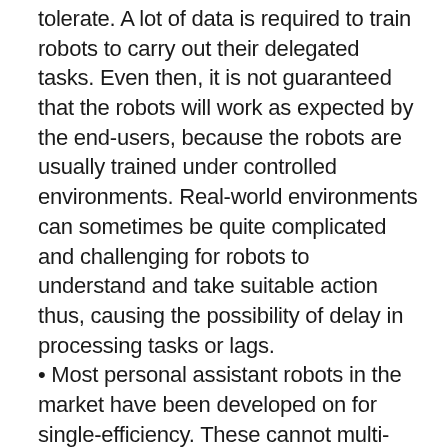tolerate. A lot of data is required to train robots to carry out their delegated tasks. Even then, it is not guaranteed that the robots will work as expected by the end-users, because the robots are usually trained under controlled environments. Real-world environments can sometimes be quite complicated and challenging for robots to understand and take suitable action thus, causing the possibility of delay in processing tasks or lags.
Most personal assistant robots in the market have been developed on for single-efficiency. These cannot multi-task so getting work performances with or without them manually does not make ample changes after all challenging the robot market that manual methods of working seem to be on the top notch.